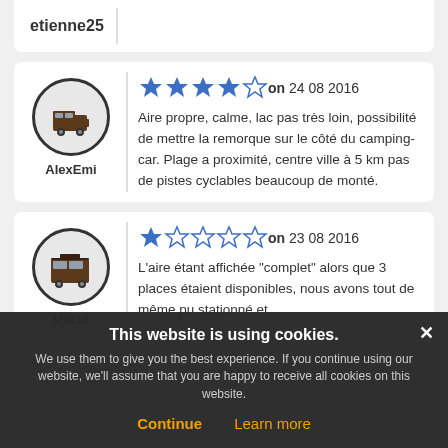etienne25
AlexEmi — ★★★★☆ on 24 08 2016 — Aire propre, calme, lac pas très loin, possibilité de mettre la remorque sur le côté du camping-car. Plage a proximité, centre ville à 5 km pas de pistes cyclables beaucoup de monté.
Mat16 — ★☆☆☆☆ on 23 08 2016 — L'aire étant affichée "complet" alors que 3 places étaient disponibles, nous avons tout de même pu stationné et
This website is using cookies. We use them to give you the best experience. If you continue using our website, we'll assume that you are happy to receive all cookies on this website.
Continue   Learn more